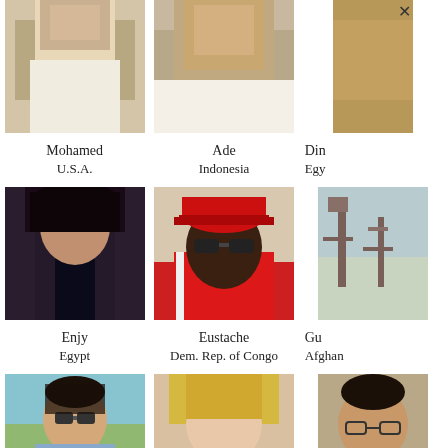[Figure (photo): Profile photo of Mohamed, partial top crop, man outdoors]
[Figure (photo): Profile photo of Ade, man in white shirt, partial top crop]
[Figure (photo): Profile photo of Dim (truncated), partial top crop with close X button]
Mohamed
U.S.A.
Ade
Indonesia
Din
Egy
[Figure (photo): Profile photo of Enjy, young woman with dark hair]
[Figure (photo): Profile photo of Eustache, man in red cap and red shirt]
[Figure (photo): Profile photo of Gu (truncated), statue/monument in background]
Enjy
Egypt
Eustache
Dem. Rep. of Congo
Gu
Afghan
[Figure (photo): Profile photo, young man with sunglasses outdoors]
[Figure (photo): Profile photo, blonde woman]
[Figure (photo): Profile photo, man with glasses]